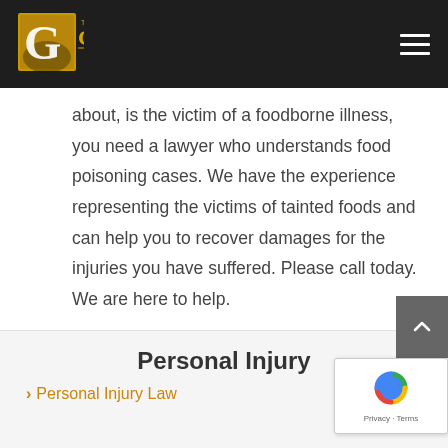[Figure (logo): The Gould Firm logo — gold G in a dark box with firm name text]
about, is the victim of a foodborne illness, you need a lawyer who understands food poisoning cases. We have the experience representing the victims of tainted foods and can help you to recover damages for the injuries you have suffered. Please call today. We are here to help.
Personal Injury
> Personal Injury Law